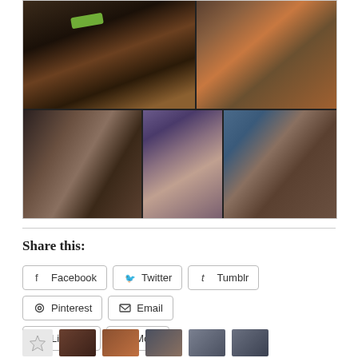[Figure (photo): Photo collage of food market/festival scenes: top-left shows meat skewers and green vegetables on a grill; top-right shows a food vendor stand with pastries/cinnamon rolls and a worker in red hat; bottom-left shows a smoky grill with a chef in white; bottom-middle shows children eating/tasting food at a market stall; bottom-right shows people browsing an outdoor market with vendor tents.]
Share this:
Facebook
Twitter
Tumblr
Pinterest
Email
LinkedIn
More